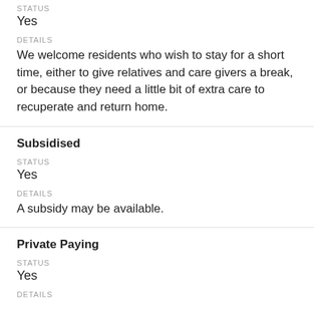STATUS
Yes
DETAILS
We welcome residents who wish to stay for a short time, either to give relatives and care givers a break, or because they need a little bit of extra care to recuperate and return home.
Subsidised
STATUS
Yes
DETAILS
A subsidy may be available.
Private Paying
STATUS
Yes
DETAILS